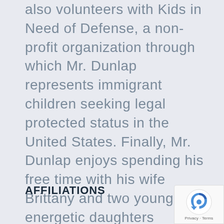also volunteers with Kids in Need of Defense, a non-profit organization through which Mr. Dunlap represents immigrant children seeking legal protected status in the United States. Finally, Mr. Dunlap enjoys spending his free time with his wife Brittany and two young and energetic daughters Elizabeth and Katherine, as well as supporting University of Tennessee football and basketball.
AFFILIATIONS
[Figure (other): reCAPTCHA badge with Privacy and Terms links]